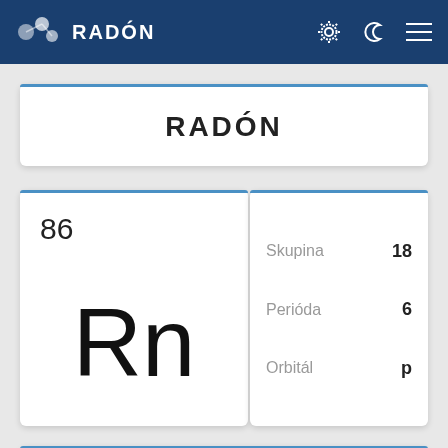RADÓN
RADÓN
86
Rn
| Property | Value |
| --- | --- |
| Skupina | 18 |
| Perióda | 6 |
| Orbitál | p |
Protón   Elektrón   Neutón